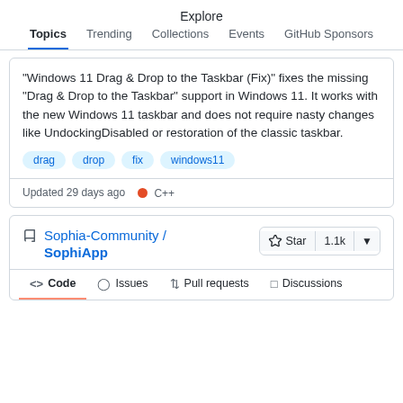Explore
Topics  Trending  Collections  Events  GitHub Sponsors
"Windows 11 Drag & Drop to the Taskbar (Fix)" fixes the missing "Drag & Drop to the Taskbar" support in Windows 11. It works with the new Windows 11 taskbar and does not require nasty changes like UndockingDisabled or restoration of the classic taskbar.
drag
drop
fix
windows11
Updated 29 days ago  ● C++
Sophia-Community / SophiApp   ☆ Star  1.1k  ▼
<> Code   ⊙ Issues   ⇕ Pull requests   ◻ Discussions